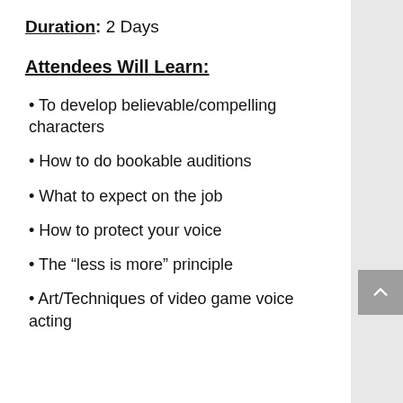Duration: 2 Days
Attendees Will Learn:
To develop believable/compelling characters
How to do bookable auditions
What to expect on the job
How to protect your voice
The “less is more” principle
Art/Techniques of video game voice acting